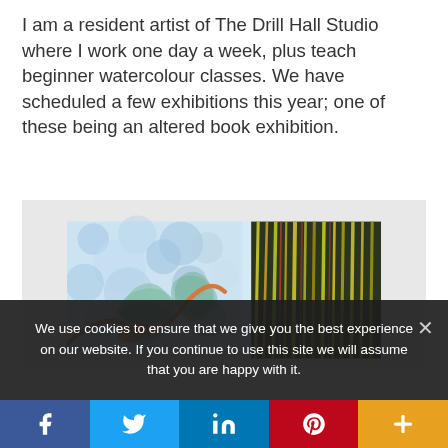I am a resident artist of The Drill Hall Studio where I work one day a week, plus teach beginner watercolour classes. We have scheduled a few exhibitions this year; one of these being an altered book exhibition.
[Figure (illustration): Colorful watercolour artwork showing abstract nature scene with floral and organic elements on the left side in blues, oranges and greens, and vertical yellow-green line strokes on the right side.]
We use cookies to ensure that we give you the best experience on our website. If you continue to use this site we will assume that you are happy with it.
Facebook | Twitter | LinkedIn | Pinterest | More